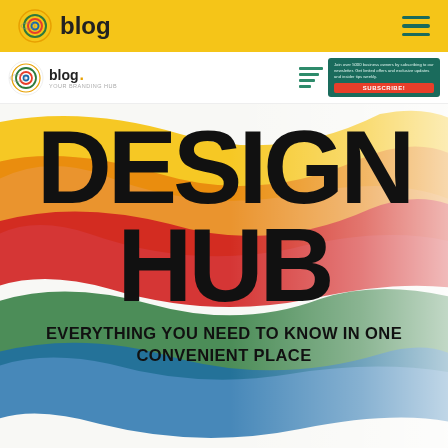blog
[Figure (screenshot): Blog website screenshot showing a colorful paint-brush hero image with 'DESIGN HUB' in large black text, a top navigation bar with yellow background and blog logo, an inner header with blog logo and subscribe button on green background, and subtitle text 'EVERYTHING YOU NEED TO KNOW IN ONE CONVENIENT PLACE']
DESIGN HUB
EVERYTHING YOU NEED TO KNOW IN ONE CONVENIENT PLACE